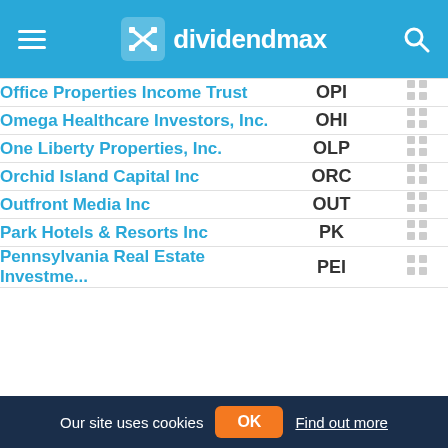dividendmax
| Company | Ticker |  |
| --- | --- | --- |
| Office Properties Income Trust | OPI |  |
| Omega Healthcare Investors, Inc. | OHI |  |
| One Liberty Properties, Inc. | OLP |  |
| Orchid Island Capital Inc | ORC |  |
| Outfront Media Inc | OUT |  |
| Park Hotels & Resorts Inc | PK |  |
| Pennsylvania Real Estate Investme... | PEI |  |
Our site uses cookies  OK  Find out more